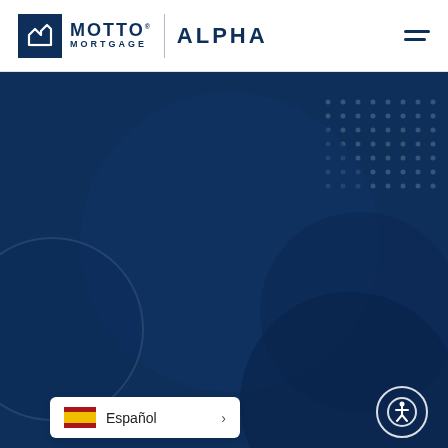[Figure (logo): Motto Mortgage Alpha logo with navy blue square icon containing stylized M, text MOTTO MORTGAGE, vertical divider, and ALPHA wordmark]
[Figure (illustration): Navy blue hero background with decorative overlapping circles and dot pattern in upper right]
[Figure (infographic): Language selector button showing Spanish flag and text Español with right arrow, and accessibility icon circle at bottom right]